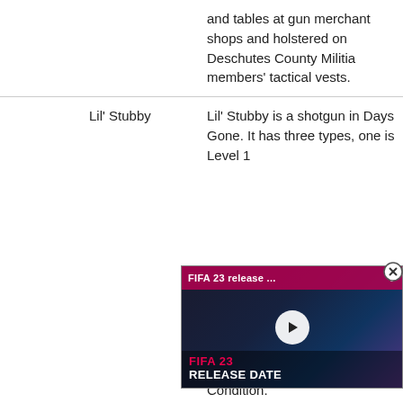|  | Name | Description |
| --- | --- | --- |
|  |  | and tables at gun merchant shops and holstered on Deschutes County Militia members' tactical vests. |
|  | Lil' Stubby | Lil' Stubby is a shotgun in Days Gone. It has three types, one is Level 1 … Condition. |
| [image] | PDW | PDW is one of the |
[Figure (screenshot): Video overlay showing FIFA 23 Release Date video with play button, pink top bar with title 'FIFA 23 release ...' and bottom text 'FIFA 23 RELEASE DATE']